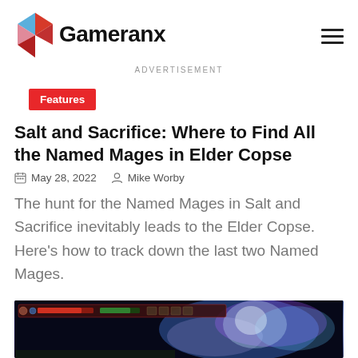Gameranx
ADVERTISEMENT
Features
Salt and Sacrifice: Where to Find All the Named Mages in Elder Copse
May 28, 2022   Mike Worby
The hunt for the Named Mages in Salt and Sacrifice inevitably leads to the Elder Copse. Here's how to track down the last two Named Mages.
[Figure (screenshot): In-game screenshot showing a dark fantasy scene with glowing blue and purple magical effects, with a game HUD interface bar visible at the top of the image]